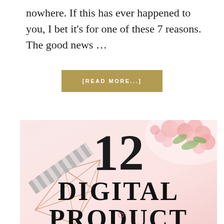nowhere. If this has ever happened to you, I bet it's for one of these 7 reasons. The good news …
[READ MORE...]
[Figure (illustration): Promotional image for '12 Digital Product' blog post or article. Features a pink floral background on the right, a rose gold geometric wireframe object and striped ribbon on the left. Large bold serif text reads '12 DIGITAL PRODUCT' overlaid on the image.]